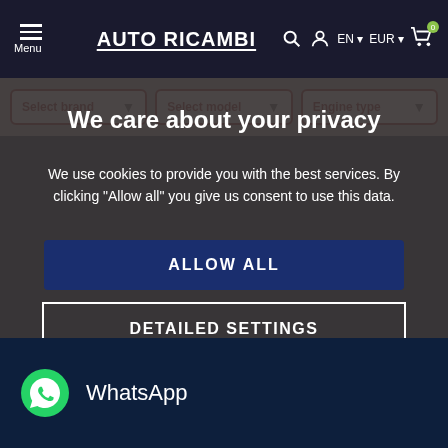AUTO RICAMBI — Menu, EN, EUR, Cart (0)
Select brand | Select model | Engine type
We care about your privacy
We use cookies to provide you with the best services. By clicking "Allow all" you give us consent to use this data.
ALLOW ALL
DETAILED SETTINGS
WhatsApp